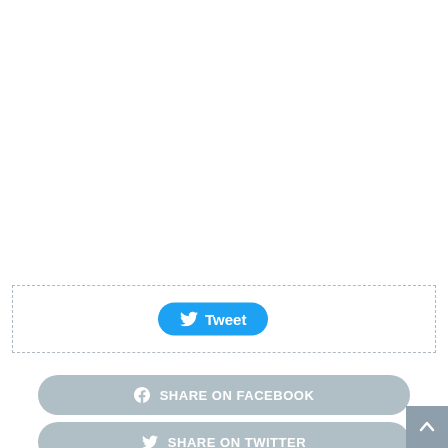[Figure (screenshot): White blank area at the top of the page]
[Figure (screenshot): Tweet button widget in a dashed border box. Contains a blue rounded tweet button with Twitter bird icon and text 'Tweet'.]
SHARE ON FACEBOOK
SHARE ON TWITTER